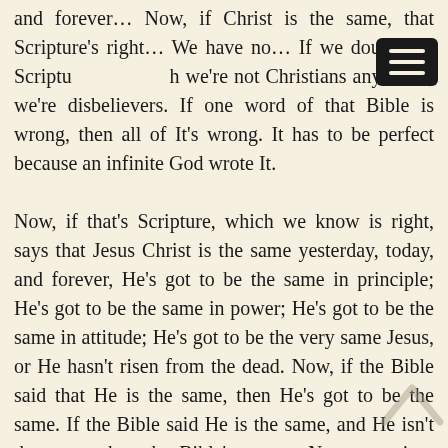and forever… Now, if Christ is the same, that Scripture's right… We have no… If we doubt that Scripture, we're not Christians any more; we're disbelievers. If one word of that Bible is wrong, then all of It's wrong. It has to be perfect because an infinite God wrote It.
Now, if that's Scripture, which we know is right, says that Jesus Christ is the same yesterday, today, and forever, He's got to be the same in principle; He's got to be the same in power; He's got to be the same in attitude; He's got to be the very same Jesus, or He hasn't risen from the dead. Now, if the Bible said that He is the same, then He's got to be the same. If the Bible said He is the same, and He isn't the same, then the Bible's wrong. Now, we—it—you…
I believe in everything being, it's either right or wrong. You never seen a drunk sober man in your life. No, sir. You never seen a black white bird. No, it's either right or wrong. And that's the way I believe God's Word: It's either right or It's wrong. The promises are true or they're not